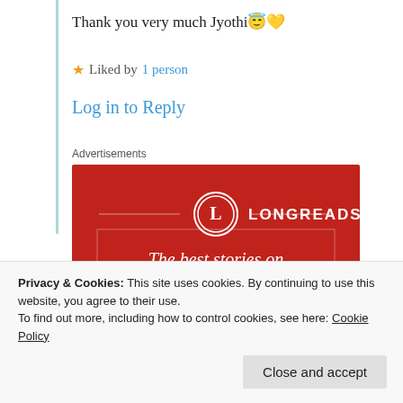Thank you very much Jyothi😇💛
★ Liked by 1 person
Log in to Reply
Advertisements
[Figure (other): Longreads advertisement banner with red background. Shows the Longreads logo (L in a circle) and text: 'The best stories on the web – ours, and everyone else's.']
Privacy & Cookies: This site uses cookies. By continuing to use this website, you agree to their use. To find out more, including how to control cookies, see here: Cookie Policy